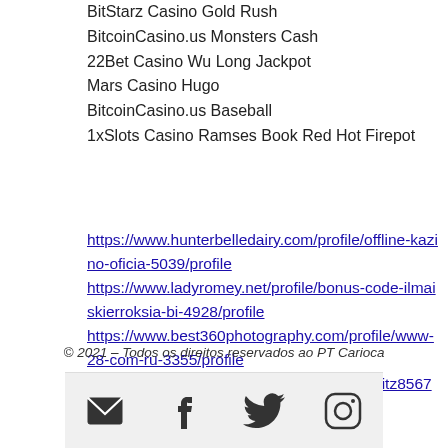BitStarz Casino Gold Rush
BitcoinCasino.us Monsters Cash
22Bet Casino Wu Long Jackpot
Mars Casino Hugo
BitcoinCasino.us Baseball
1xSlots Casino Ramses Book Red Hot Firepot
https://www.hunterbelledairy.com/profile/offline-kazino-oficia-5039/profile https://www.ladyromey.net/profile/bonus-code-ilmaiskierroksia-bi-4928/profile https://www.best360photography.com/profile/www-28-com-ru-3355/profile https://mathekellner.de/community/profile/bitz8567724/
© 2021 – Todos os direitos reservados ao PT Carioca